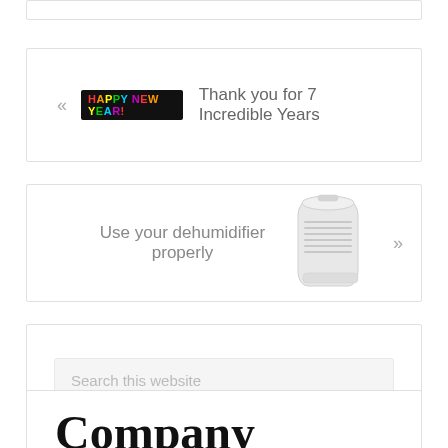[Figure (screenshot): Navigation link with Happy New Year LED sign image and text 'Thank you for 7 Incredible Years']
[Figure (screenshot): Navigation link showing a white dehumidifier appliance with text 'Use your dehumidifier properly']
Search this website
Company